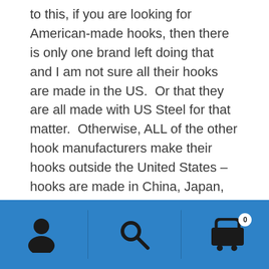to this, if you are looking for American-made hooks, then there is only one brand left doing that and I am not sure all their hooks are made in the US.  Or that they are all made with US Steel for that matter.  Otherwise, ALL of the other hook manufacturers make their hooks outside the United States – hooks are made in China, Japan, Belgium, France, Norway, Singapore, Portugal and Malaysia.  If your guiding principle is to buy American first, then it's Eagle Claw for you.
As my needs increased and my buying requirements increased in volume, I looked for and found a well-
[Figure (other): Blue navigation bar with three icons: user/account icon, search/magnifying glass icon, and shopping cart icon with badge showing 0]